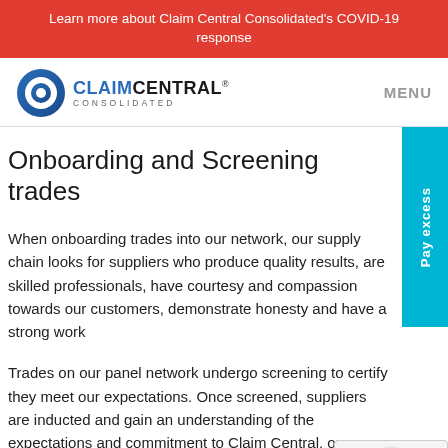Learn more about Claim Central Consolidated's COVID-19 response
[Figure (logo): Claim Central Consolidated logo with blue circular icon and brand name]
Onboarding and Screening trades
When onboarding trades into our network, our supply chain looks for suppliers who produce quality results, are skilled professionals, have courtesy and compassion towards our customers, demonstrate honesty and have a strong work
Trades on our panel network undergo screening to certify they meet our expectations. Once screened, suppliers are inducted and gain an understanding of the expectations and commitment to Claim Central, our clients and customers.